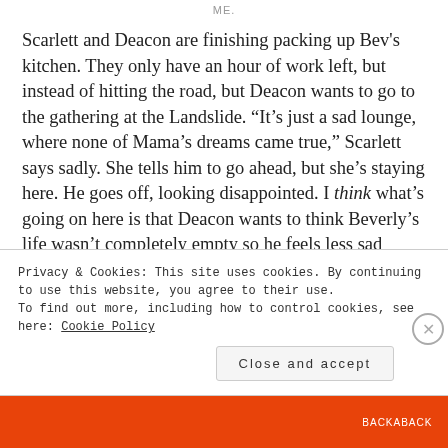ME.
Scarlett and Deacon are finishing packing up Bev's kitchen. They only have an hour of work left, but instead of hitting the road, but Deacon wants to go to the gathering at the Landslide. “It’s just a sad lounge, where none of Mama’s dreams came true,” Scarlett says sadly. She tells him to go ahead, but she’s staying here. He goes off, looking disappointed. I think what’s going on here is that Deacon wants to think Beverly’s life wasn’t completely empty so he feels less sad about her death (or less guilty).
Privacy & Cookies: This site uses cookies. By continuing to use this website, you agree to their use.
To find out more, including how to control cookies, see here: Cookie Policy
Close and accept